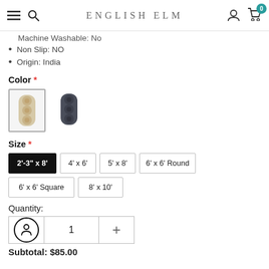ENGLISH ELM
Machine Washable: No
Non Slip: NO
Origin: India
Color *
[Figure (other): Two rug color swatch options: a beige/tan patterned rug (selected, with border) and a dark navy/charcoal patterned rug]
Size *
Size options: 2'-3" x 8' (selected), 4' x 6', 5' x 8', 6' x 6' Round, 6' x 6' Square, 8' x 10'
Quantity:
1
Subtotal: $85.00